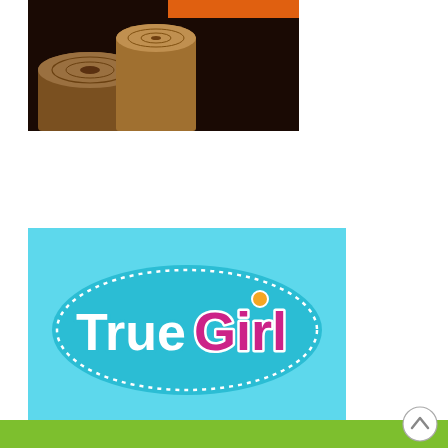[Figure (photo): A dark background photo showing two wooden tree stumps/logs with an orange bar visible at top right]
[Figure (logo): TrueGirl logo: a teal/light blue rectangular image with a teal oval badge containing the word 'TrueGirl' — 'True' in white bubble letters with teal outline, 'Girl' in magenta/pink bold letters. A yellow/orange dot sits atop the 'i' in 'Girl'. The oval has a dotted white border.]